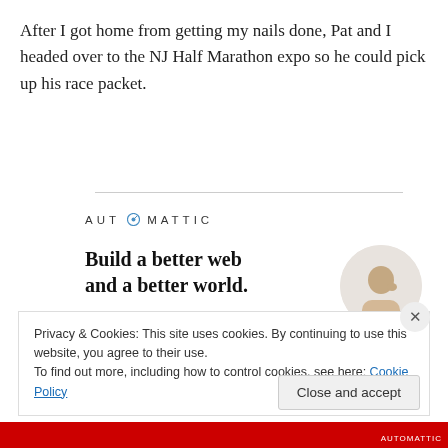After I got home from getting my nails done, Pat and I headed over to the NJ Half Marathon expo so he could pick up his race packet.
[Figure (infographic): Automattic advertisement banner with logo, headline 'Build a better web and a better world.', an Apply button, and a circular photo of a man thinking]
Privacy & Cookies: This site uses cookies. By continuing to use this website, you agree to their use.
To find out more, including how to control cookies, see here: Cookie Policy
Close and accept